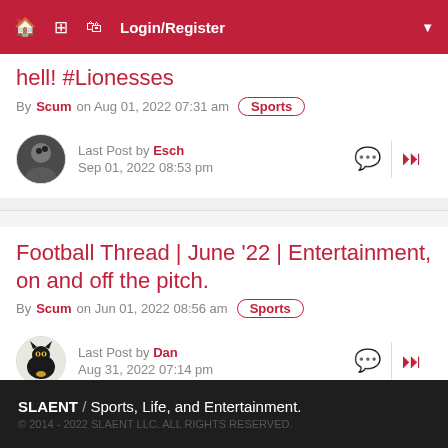Login/Register
hell! #Lionesses
By Scum on Aug 01, 2022 07:31 am  Sports
Last Post by Esch
Sep 01, 2022 08:53 pm
Football Thread | June '22 | Entertainment, on and off the pitch.
By Scum on Jun 01, 2022 08:56 am  Sports
Last Post by Dan
Aug 31, 2022 07:14 pm
SLAENT / Sports, Life, and Entertainment.